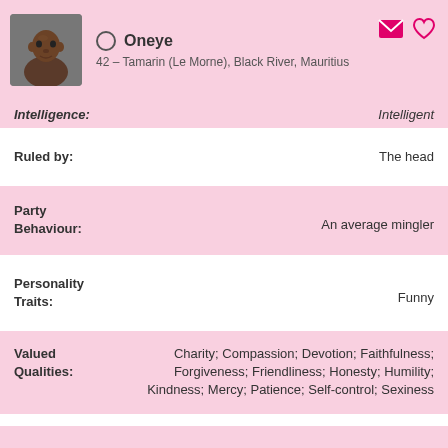Oneye — 42 – Tamarin (Le Morne), Black River, Mauritius
Intelligence: Intelligent
Ruled by: The head
Party Behaviour: An average mingler
Personality Traits: Funny
Valued Qualities: Charity; Compassion; Devotion; Faithfulness; Forgiveness; Friendliness; Honesty; Humility; Kindness; Mercy; Patience; Self-control; Sexiness
Fashion Sense: Alternative (I'm stylish in my own special way)